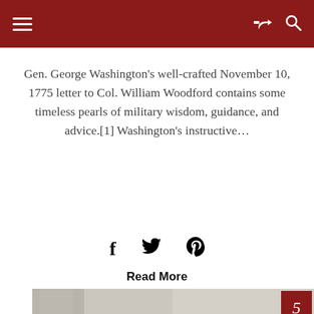Navigation header with hamburger menu, share icon, and search icon
Gen. George Washington’s well-crafted November 10, 1775 letter to Col. William Woodford contains some timeless pearls of military wisdom, guidance, and advice.[1] Washington’s instructive…
[Figure (infographic): Social sharing icons: Facebook (f), Twitter (bird), Pinterest (P)]
Read More
[Figure (photo): Bronze statue of George Washington in military uniform, standing in front of a stone building with columns. A red badge with the number 5 appears in the top right corner of the image.]